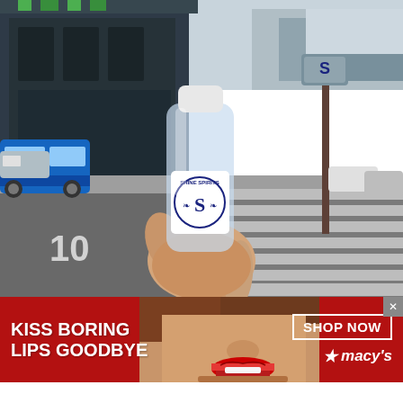[Figure (photo): A hand holding a small clear plastic bottle labeled 'Shine Spirits' with a stylized 'S' logo, photographed on an urban street with a crosswalk, buildings, parked cars, and a street sign visible in the background.]
[Figure (photo): A Macy's advertisement banner showing a woman's face with red lipstick, text reading 'KISS BORING LIPS GOODBYE' on the left, and 'SHOP NOW / macys' with a star logo on the right, on a red background.]